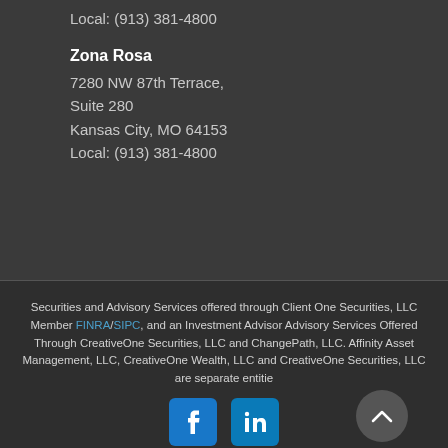Local: (913) 381-4800
Zona Rosa
7280 NW 87th Terrace,
Suite 280
Kansas City, MO 64153
Local: (913) 381-4800
Securities and Advisory Services offered through Client One Securities, LLC Member FINRA/SIPC, and an Investment Advisor Advisory Services Offered Through CreativeOne Securities, LLC and ChangePath, LLC. Affinity Asset Management, LLC, CreativeOne Wealth, LLC and CreativeOne Securities, LLC are separate entitie